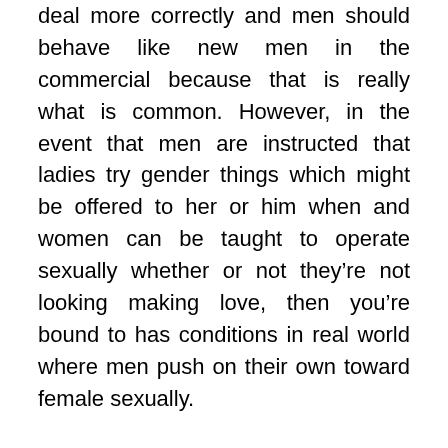deal more correctly and men should behave like new men in the commercial because that is really what is common. However, in the event that men are instructed that ladies try gender things which might be offered to her or him when and women can be taught to operate sexually whether or not they’re not looking making love, then you’re bound to has conditions in real world where men push on their own toward female sexually.
Ecologically speaking, the latest alcohol industry renders a significant environmental impact. On the whole, the industry spends nearly 500 mil many grain every year. Since the alcohol actually churls, you must wonder where ever: